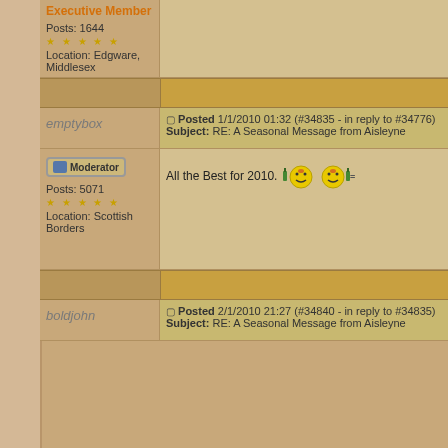Executive Member
Posts: 1644
★ ★ ★ ★ ★
Location: Edgware, Middlesex
emptybox
Posted 1/1/2010 01:32 (#34835 - in reply to #34776)
Subject: RE: A Seasonal Message from Aisleyne
All the Best for 2010.
Moderator
Posts: 5071
★ ★ ★ ★ ★
Location: Scottish Borders
boldjohn
Posted 2/1/2010 21:27 (#34840 - in reply to #34835)
Subject: RE: A Seasonal Message from Aisleyne